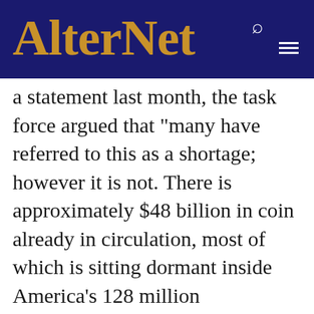AlterNet
a statement last month, the task force argued that "many have referred to this as a shortage; however it is not. There is approximately $48 billion in coin already in circulation, most of which is sitting dormant inside America's 128 million households."
In other words, there are plenty of coins to go around — they're just stuck in jars and on dressers. The task force said as much: "As people have changed their spending habits, and coin-intensive businesses and financial